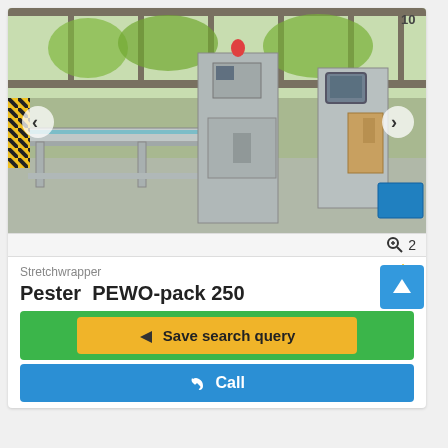[Figure (photo): Industrial stretchwrapper machine (Pester PEWO-pack 250) in a factory setting with conveyor tables, control panels, and a blue bin visible. Navigation arrows on left and right sides of the image.]
🔍 2
Stretchwrapper
Pester  PEWO-pack 250
⭐
↑
✈ Save search query
📞 Call